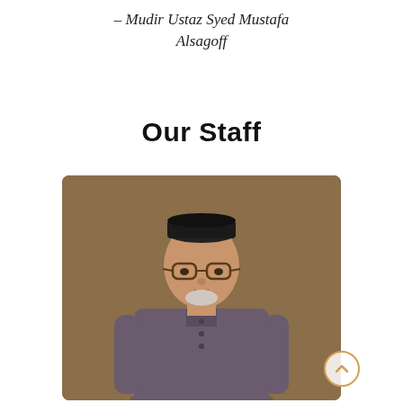– Mudir Ustaz Syed Mustafa Alsagoff
Our Staff
[Figure (photo): Portrait photo of a man wearing a black songkok (traditional cap), glasses, and a grey/dark mauve baju melayu shirt, standing against a warm brown background. He has a short white beard.]